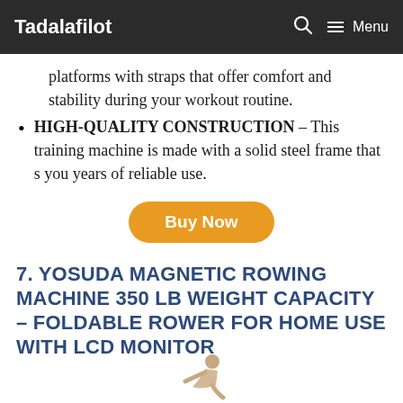Tadalafilot   🔍   ☰ Menu
platforms with straps that offer comfort and stability during your workout routine.
HIGH-QUALITY CONSTRUCTION – This training machine is made with a solid steel frame that s you years of reliable use.
Buy Now
7. YOSUDA MAGNETIC ROWING MACHINE 350 LB WEIGHT CAPACITY – FOLDABLE ROWER FOR HOME USE WITH LCD MONITOR
[Figure (illustration): Partial silhouette of a person using a rowing machine at the bottom of the page]